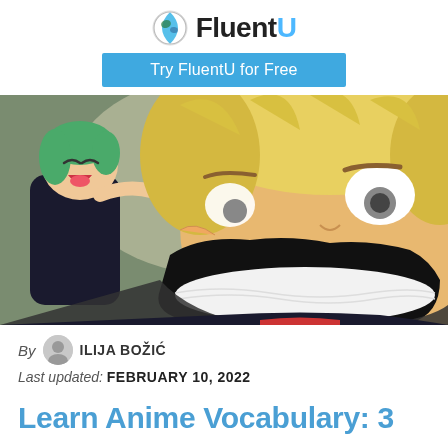FluentU — Try FluentU for Free
[Figure (illustration): Anime screenshot showing two characters: a small green-haired girl gleefully pulling on the cheek/mouth of a large blonde character whose mouth is stretched wide open, filled with rice/food. Both characters are in dark clothing.]
By ILIJA BOŽIĆ
Last updated: FEBRUARY 10, 2022
Learn Anime Vocabulary: 3